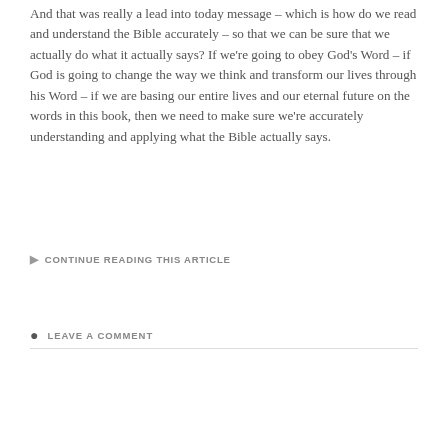And that was really a lead into today message – which is how do we read and understand the Bible accurately – so that we can be sure that we actually do what it actually says? If we're going to obey God's Word – if God is going to change the way we think and transform our lives through his Word – if we are basing our entire lives and our eternal future on the words in this book, then we need to make sure we're accurately understanding and applying what the Bible actually says.
CONTINUE READING THIS ARTICLE
LEAVE A COMMENT